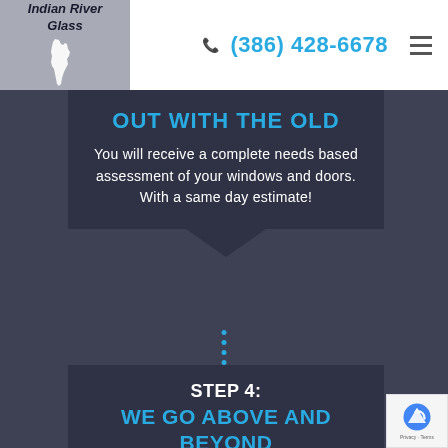[Figure (logo): Indian River Glass logo with Florida state silhouette on grey background]
(386) 428-6678
OUT WITH THE OLD
You will receive a complete needs based assessment of your windows and doors. With a same day estimate!
STEP 4:
WE GO ABOVE AND BEYOND
Within weeks Indian River Glass will have your product installed by our highly qualified